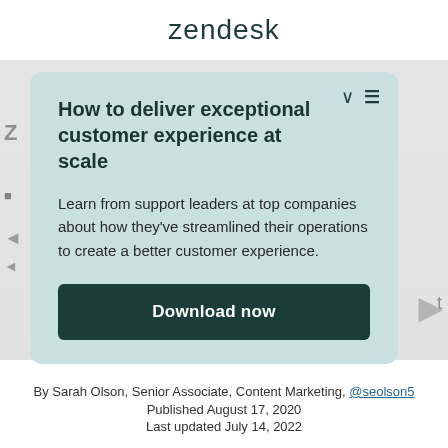zendesk
How to deliver exceptional customer experience at scale
Learn from support leaders at top companies about how they've streamlined their operations to create a better customer experience.
Download now
By Sarah Olson, Senior Associate, Content Marketing, @seolson5
Published August 17, 2020
Last updated July 14, 2022